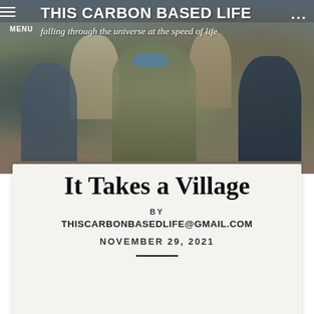[Figure (photo): Crowd of people in what appears to be a meeting room or hearing. Several people standing, one in the center wearing a blue face mask, others visible behind. Scene appears to be a public gathering or school board meeting.]
THIS CARBON BASED LIFE
falling through the universe at the speed of life
It Takes a Village
BY
THISCARBONBASEDLIFE@GMAIL.COM
NOVEMBER 29, 2021